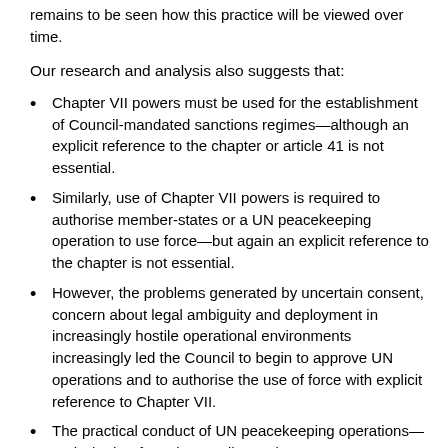remains to be seen how this practice will be viewed over time.
Our research and analysis also suggests that:
Chapter VII powers must be used for the establishment of Council-mandated sanctions regimes—although an explicit reference to the chapter or article 41 is not essential.
Similarly, use of Chapter VII powers is required to authorise member-states or a UN peacekeeping operation to use force—but again an explicit reference to the chapter is not essential.
However, the problems generated by uncertain consent, concern about legal ambiguity and deployment in increasingly hostile operational environments increasingly led the Council to begin to approve UN operations and to authorise the use of force with explicit reference to Chapter VII.
The practical conduct of UN peacekeeping operations—and whether force is actually used or not